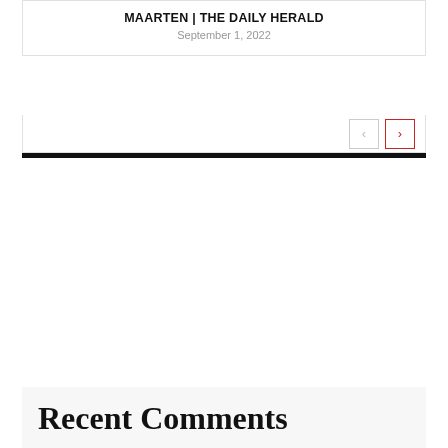MAARTEN | THE DAILY HERALD
September 1, 2022
Recent Comments